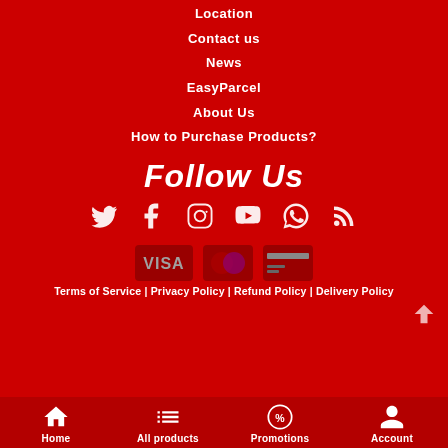Location
Contact us
News
EasyParcel
About Us
How to Purchase Products?
Follow Us
[Figure (infographic): Social media icons: Twitter, Facebook, Instagram, YouTube, WhatsApp, RSS]
[Figure (infographic): Payment icons: VISA, Mastercard, credit card]
Terms of Service | Privacy Policy | Refund Policy | Delivery Policy
Home | All products | Promotions | Account